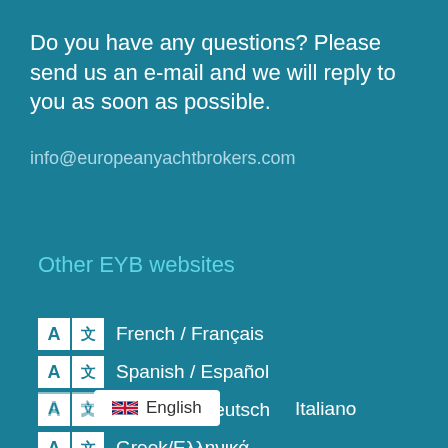Do you have any questions? Please send us an e-mail and we will reply to you as soon as possible.
info@europeanyachtbrokers.com
Other EYB websites
French / Français
Spanish / Español
German / Deutsch
Greek/Ελληνικά
Italiano
English